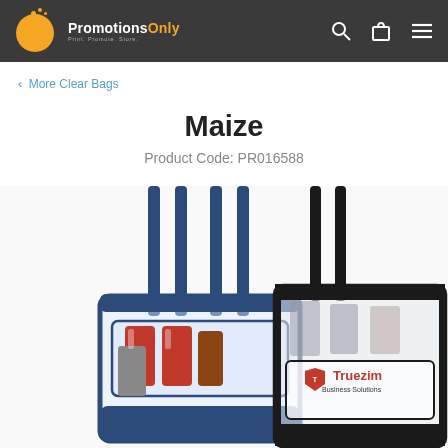PromotionsOnly — Print. Promote. Store.
< More Clear Bags
Maize
Product Code: PR016588
[Figure (photo): Two clear tote bags shown side by side. Left bag has navy blue handles and trim, filled with canned drinks. Right bag has black handles and trim, with a 'Truezim Business Solutions' red logo printed on the front pocket.]